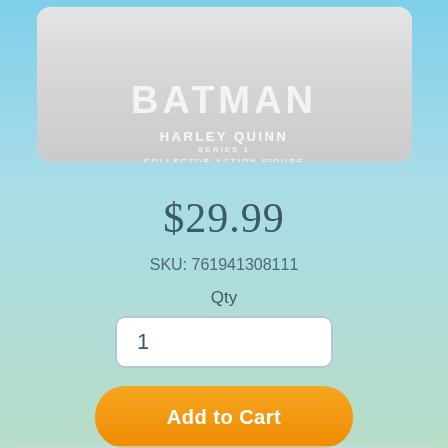[Figure (photo): Batman Harley Quinn Series 1 Collector Action Figure product image in blurred packaging with white/gray background]
$29.99
SKU: 761941308111
Qty
1
Add to Cart